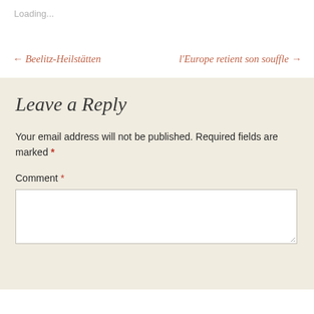Loading...
← Beelitz-Heilstätten  l'Europe retient son souffle →
Leave a Reply
Your email address will not be published. Required fields are marked *
Comment *